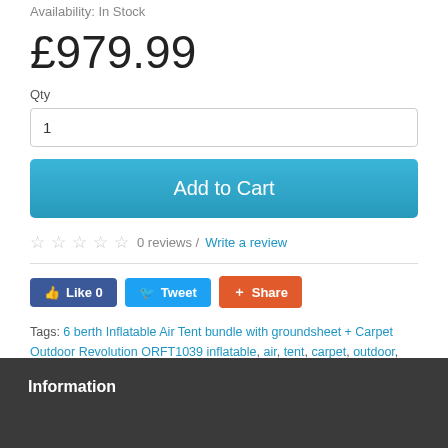Availability: In Stock
£979.99
Qty
1
Add to Cart
☆ ☆ ☆ ☆ ☆ 0 reviews / Write a review
Like 0   Tweet   Share
Tags: 6 berth Inflatable Air Tent bundle with groundsheet + Carpet Outdoor Revolution ORFT1039 inflatable, air, tent, carpet, outdoor, revolution, tents
Information